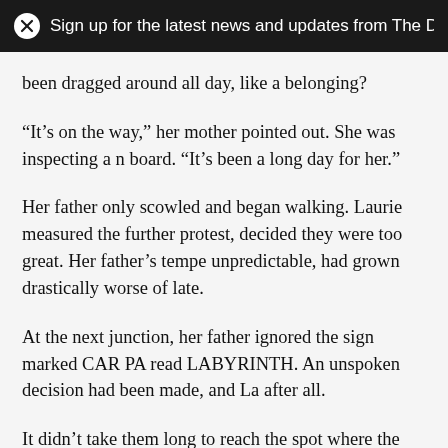Sign up for the latest news and updates from The D
been dragged around all day, like a belonging?
“It’s on the way,” her mother pointed out. She was inspecting a board. “It’s been a long day for her.”
Her father only scowled and began walking. Laurie measured the further protest, decided they were too great. Her father’s tempe unpredictable, had grown drastically worse of late.
At the next junction, her father ignored the sign marked CAR PA read LABYRINTH. An unspoken decision had been made, and La after all.
It didn’t take them long to reach the spot where the map claime be. However, what they came upon wasn’t remotely what she’d imagined high walls of stone, but there was merely a wattle arch ran beside the path. It looked to Laurie grown rather than made mark the opening as an entrance, except that at the centre was bearing carved markings. She barely glanced at them at the time